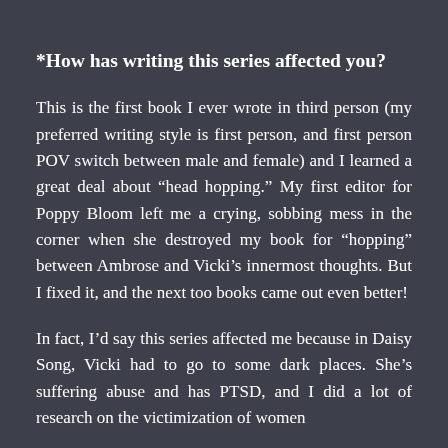*How has writing this series affected you?
This is the first book I ever wrote in third person (my preferred writing style is first person, and first person POV switch between male and female) and I learned a great deal about “head hopping.” My first editor for Poppy Bloom left me a crying, sobbing mess in the corner when she destroyed my book for “hopping” between Ambrose and Vicki’s innermost thoughts. But I fixed it, and the next too books came out even better!
In fact, I’d say this series affected me because in Daisy Song, Vicki had to go to some dark places. She’s suffering abuse and has PTSD, and I did a lot of research on the victimization of women